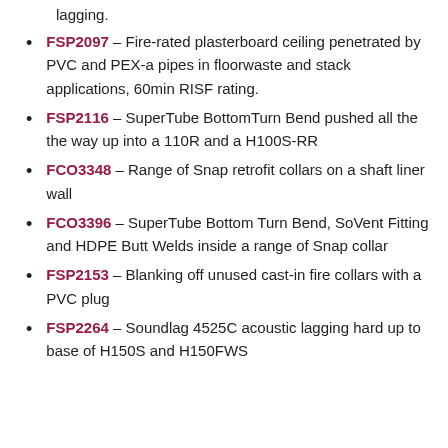lagging.
FSP2097 – Fire-rated plasterboard ceiling penetrated by PVC and PEX-a pipes in floorwaste and stack applications, 60min RISF rating.
FSP2116 – SuperTube BottomTurn Bend pushed all the the way up into a 110R and a H100S-RR
FCO3348 – Range of Snap retrofit collars on a shaft liner wall
FCO3396 – SuperTube Bottom Turn Bend, SoVent Fitting and HDPE Butt Welds inside a range of Snap collar
FSP2153 – Blanking off unused cast-in fire collars with a PVC plug
FSP2264 – Soundlag 4525C acoustic lagging hard up to base of H150S and H150FWS